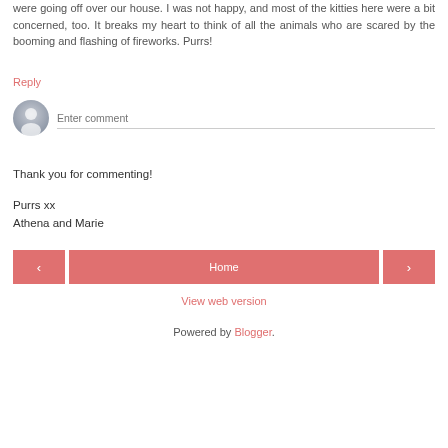were going off over our house. I was not happy, and most of the kitties here were a bit concerned, too. It breaks my heart to think of all the animals who are scared by the booming and flashing of fireworks. Purrs!
Reply
[Figure (illustration): Gray user avatar icon circle with person silhouette, next to an 'Enter comment' text input field with bottom border]
Thank you for commenting!
Purrs xx
Athena and Marie
[Figure (infographic): Navigation bar with left arrow button, Home center button, and right arrow button, all in salmon/red color]
View web version
Powered by Blogger.